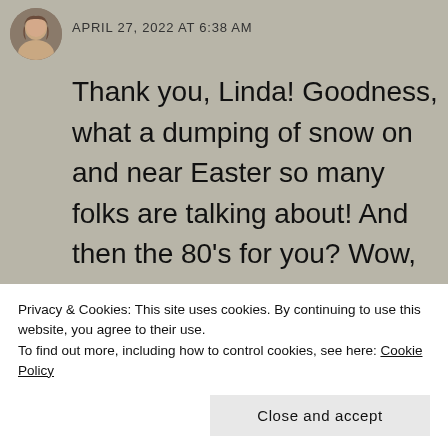APRIL 27, 2022 AT 6:38 AM
Thank you, Linda! Goodness, what a dumping of snow on and near Easter so many folks are talking about! And then the 80’s for you? Wow, what a swing! We had rain all morning yesterday but I managed to get a short walk with the pups in the afternoon. I can handle the
Privacy & Cookies: This site uses cookies. By continuing to use this website, you agree to their use.
To find out more, including how to control cookies, see here: Cookie Policy
Close and accept